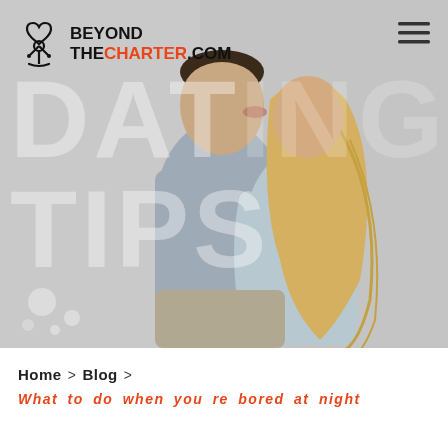[Figure (photo): Hero image of a couple (man in grey sweater and woman in blue top) kissing against a grey background, with large light-grey watermark text 'DATING TIPS' behind them. Website logo 'BEYOND THE CHARTER.COM' in top left with a heart-anchor icon. Hamburger menu icon top right. Small decorative circles bottom left.]
Home > Blog >
What to do when you re bored at night